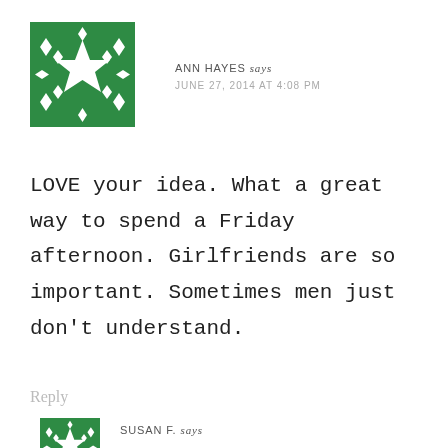[Figure (illustration): Green and white geometric pattern avatar for Ann Hayes]
ANN HAYES says
JUNE 27, 2014 AT 4:08 PM
LOVE your idea. What a great way to spend a Friday afternoon. Girlfriends are so important. Sometimes men just don't understand.
Reply
[Figure (illustration): Green and white geometric pattern avatar for Susan F. (partially visible)]
SUSAN F. says